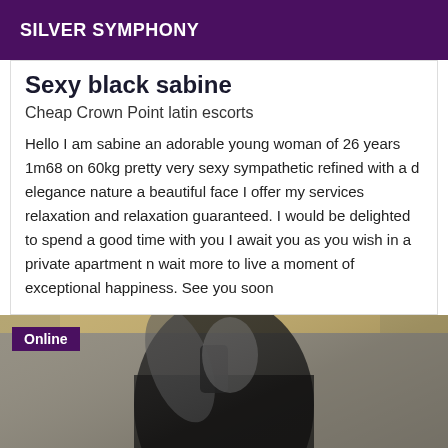SILVER SYMPHONY
Sexy black sabine
Cheap Crown Point latin escorts
Hello I am sabine an adorable young woman of 26 years 1m68 on 60kg pretty very sexy sympathetic refined with a d elegance nature a beautiful face I offer my services relaxation and relaxation guaranteed. I would be delighted to spend a good time with you I await you as you wish in a private apartment n wait more to live a moment of exceptional happiness. See you soon
[Figure (photo): Black and white mirror selfie photo of a woman in black lingerie, with an 'Online' badge in the top-left corner]